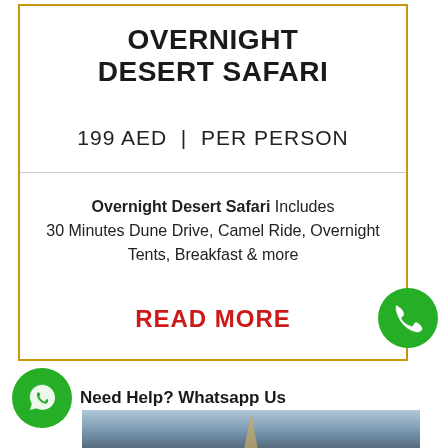OVERNIGHT DESERT SAFARI
199 AED | PER PERSON
Overnight Desert Safari Includes 30 Minutes Dune Drive, Camel Ride, Overnight Tents, Breakfast & more
READ MORE
[Figure (illustration): Green circular WhatsApp button (bottom-left)]
Need Help? Whatsapp Us
[Figure (photo): Sky and monument/tower photo at bottom]
[Figure (illustration): Green circular phone/call button (right side)]